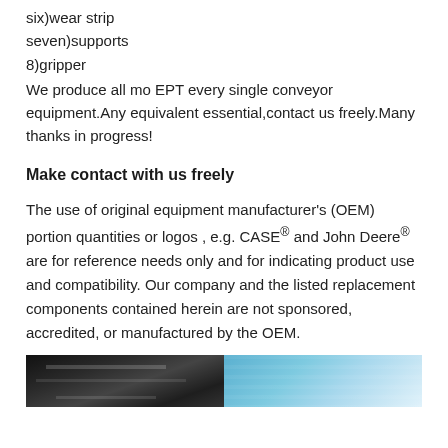six)wear strip
seven)supports
8)gripper
We produce all mo EPT every single conveyor equipment.Any equivalent essential,contact us freely.Many thanks in progress!
Make contact with us freely
The use of original equipment manufacturer's (OEM) portion quantities or logos , e.g. CASE® and John Deere® are for reference needs only and for indicating product use and compatibility. Our company and the listed replacement components contained herein are not sponsored, accredited, or manufactured by the OEM.
[Figure (photo): Two side-by-side photos: left shows industrial conveyor or warehouse interior with dark overhead structures and lighting; right shows outdoor equipment or machinery with blue sky background.]